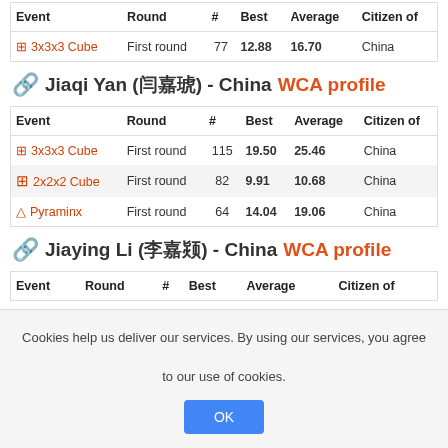| Event | Round | # | Best | Average | Citizen of |
| --- | --- | --- | --- | --- | --- |
| 3x3x3 Cube | First round | 77 | 12.88 | 16.70 | China |
Jiaqi Yan (闫嘉琦) - China WCA profile
| Event | Round | # | Best | Average | Citizen of |
| --- | --- | --- | --- | --- | --- |
| 3x3x3 Cube | First round | 115 | 19.50 | 25.46 | China |
| 2x2x2 Cube | First round | 82 | 9.91 | 10.68 | China |
| Pyraminx | First round | 64 | 14.04 | 19.06 | China |
Jiaying Li (李嘉颖) - China WCA profile
| Event | Round | # | Best | Average | Citizen of |
| --- | --- | --- | --- | --- | --- |
Cookies help us deliver our services. By using our services, you agree to our use of cookies.
OK